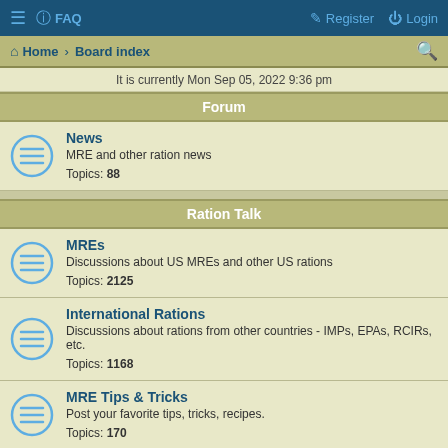≡  FAQ    Register  Login
Home · Board index
It is currently Mon Sep 05, 2022 9:36 pm
Forum
News
MRE and other ration news
Topics: 88
Ration Talk
MREs
Discussions about US MREs and other US rations
Topics: 2125
International Rations
Discussions about rations from other countries - IMPs, EPAs, RCIRs, etc.
Topics: 1168
MRE Tips & Tricks
Post your favorite tips, tricks, recipes.
Topics: 170
Buy/Sell/Trade
Buying, selling, and trading rations
Topics: 2695